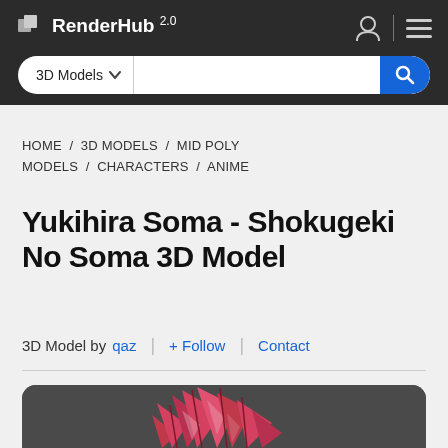RenderHub 2.0
3D Models ∨ [search bar]
HOME / 3D MODELS / MID POLY MODELS / CHARACTERS / ANIME
Yukihira Soma - Shokugeki No Soma 3D Model
3D Model by qaz | + Follow | Contact
[Figure (photo): 3D model preview showing the top portion of an anime character head with spiky reddish-pink hair against a dark gray background]